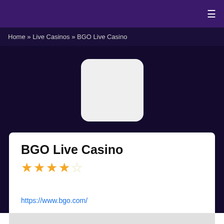≡
Home » Live Casinos » BGO Live Casino
[Figure (other): White rounded rectangle placeholder logo for BGO Live Casino]
BGO Live Casino
★★★★☆
https://www.bgo.com/